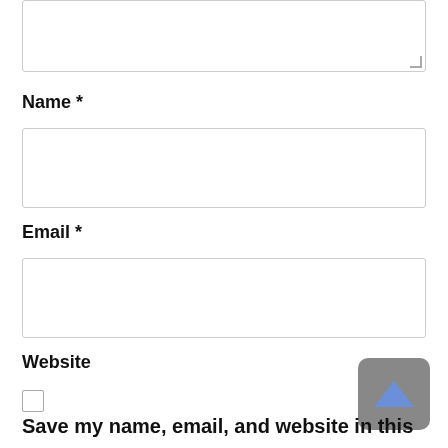[Figure (screenshot): Textarea input box (top portion visible, partially cut off) with resize handle in bottom-right corner]
Name *
[Figure (screenshot): Text input field for Name]
Email *
[Figure (screenshot): Text input field for Email]
Website
[Figure (screenshot): Text input field for Website]
[Figure (screenshot): Scroll-to-top button with blue arrow icon in gray rounded square]
Save my name, email, and website in this